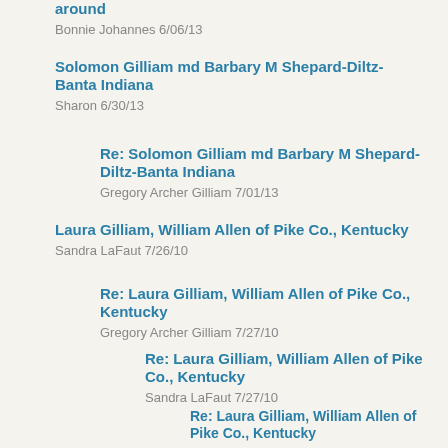around
Bonnie Johannes 6/06/13
Solomon Gilliam md Barbary M Shepard-Diltz-Banta Indiana
Sharon 6/30/13
Re: Solomon Gilliam md Barbary M Shepard-Diltz-Banta Indiana
Gregory Archer Gilliam 7/01/13
Laura Gilliam, William Allen of Pike Co., Kentucky
Sandra LaFaut 7/26/10
Re: Laura Gilliam, William Allen of Pike Co., Kentucky
Gregory Archer Gilliam 7/27/10
Re: Laura Gilliam, William Allen of Pike Co., Kentucky
Sandra LaFaut 7/27/10
Re: Laura Gilliam, William Allen of Pike Co., Kentucky
Gregory Archer Gilliam 7/27/10
Re: Laura Gilliam, William Allen of Pike Co., Kentucky
Gregory Archer Gilliam 7/28/10
Re: Laura Gilliam, William Allen of Pike Co., Kentucky
Sandra LaFaut 8/24/10